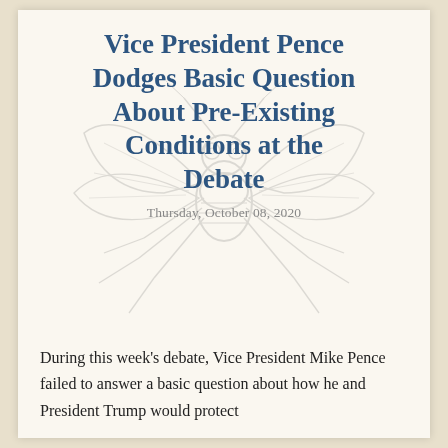[Figure (illustration): Faint grayscale line drawing of a fly (insect) centered behind the title text, used as a decorative background element.]
Vice President Pence Dodges Basic Question About Pre-Existing Conditions at the Debate
Thursday, October 08, 2020
During this week’s debate, Vice President Mike Pence failed to answer a basic question about how he and President Trump would protect